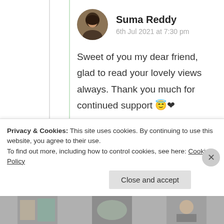[Figure (photo): Circular avatar photo of Suma Reddy, a woman with dark hair]
Suma Reddy
6th Jul 2021 at 7:30 pm
Sweet of you my dear friend, glad to read your lovely views always. Thank you much for continued support 😇❤
★ Liked by 1 person
Log in to Reply
Privacy & Cookies: This site uses cookies. By continuing to use this website, you agree to their use.
To find out more, including how to control cookies, see here: Cookie Policy
Close and accept